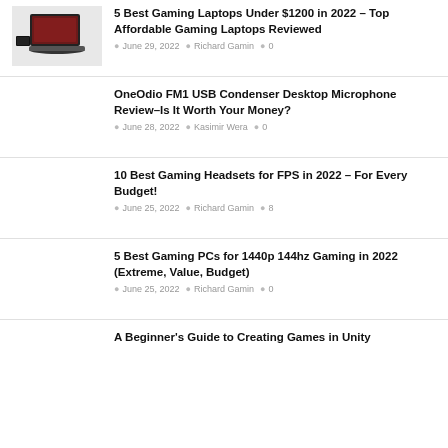5 Best Gaming Laptops Under $1200 in 2022 – Top Affordable Gaming Laptops Reviewed
June 29, 2022 · Richard Gamin · 0
OneOdio FM1 USB Condenser Desktop Microphone Review–Is It Worth Your Money?
June 28, 2022 · Kasimir Wera · 0
10 Best Gaming Headsets for FPS in 2022 – For Every Budget!
June 25, 2022 · Richard Gamin · 8
5 Best Gaming PCs for 1440p 144hz Gaming in 2022 (Extreme, Value, Budget)
June 25, 2022 · Richard Gamin · 0
A Beginner's Guide to Creating Games in Unity